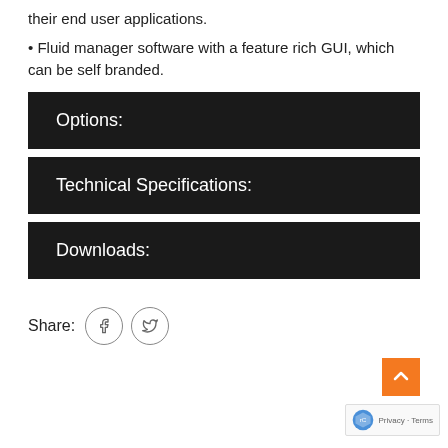their end user applications.
• Fluid manager software with a feature rich GUI, which can be self branded.
Options:
Technical Specifications:
Downloads:
Share: